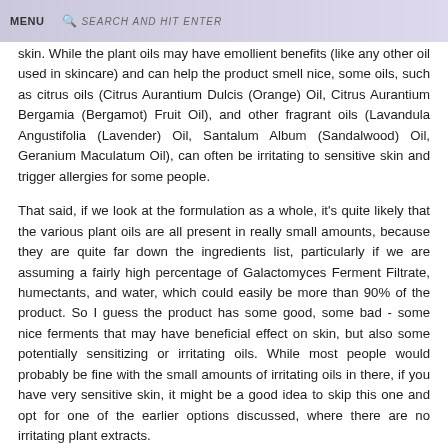MENU | SEARCH AND HIT ENTER
skin. While the plant oils may have emollient benefits (like any other oil used in skincare) and can help the product smell nice, some oils, such as citrus oils (Citrus Aurantium Dulcis (Orange) Oil, Citrus Aurantium Bergamia (Bergamot) Fruit Oil), and other fragrant oils (Lavandula Angustifolia (Lavender) Oil, Santalum Album (Sandalwood) Oil, Geranium Maculatum Oil), can often be irritating to sensitive skin and trigger allergies for some people.
That said, if we look at the formulation as a whole, it's quite likely that the various plant oils are all present in really small amounts, because they are quite far down the ingredients list, particularly if we are assuming a fairly high percentage of Galactomyces Ferment Filtrate, humectants, and water, which could easily be more than 90% of the product. So I guess the product has some good, some bad - some nice ferments that may have beneficial effect on skin, but also some potentially sensitizing or irritating oils. While most people would probably be fine with the small amounts of irritating oils in there, if you have very sensitive skin, it might be a good idea to skip this one and opt for one of the earlier options discussed, where there are no irritating plant extracts.
5. Skin Watchers Galactomyces Treatment Toner